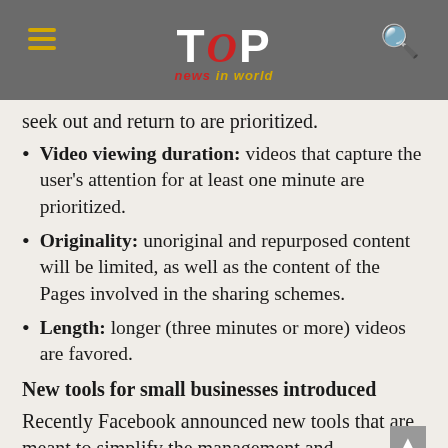TOP news in world
seek out and return to are prioritized.
Video viewing duration: videos that capture the user's attention for at least one minute are prioritized.
Originality: unoriginal and repurposed content will be limited, as well as the content of the Pages involved in the sharing schemes.
Length: longer (three minutes or more) videos are favored.
New tools for small businesses introduced
Recently Facebook announced new tools that are meant to simplify the management and